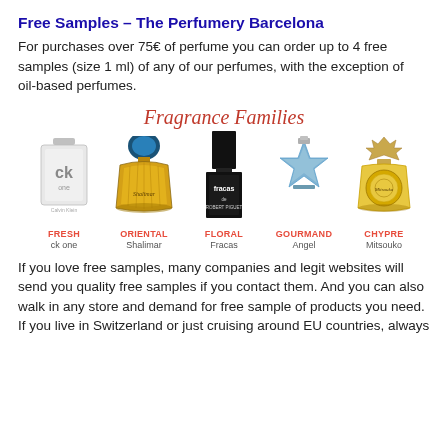Free Samples – The Perfumery Barcelona
For purchases over 75€ of perfume you can order up to 4 free samples (size 1 ml) of any of our perfumes, with the exception of oil-based perfumes.
[Figure (illustration): Fragrance Families illustration showing five perfume bottles labeled: FRESH (ck one), ORIENTAL (Shalimar), FLORAL (Fracas), GOURMAND (Angel), CHYPRE (Mitsouko), with a cursive header 'Fragrance Families']
If you love free samples, many companies and legit websites will send you quality free samples if you contact them. And you can also walk in any store and demand for free sample of products you need. If you live in Switzerland or just cruising around EU countries, always